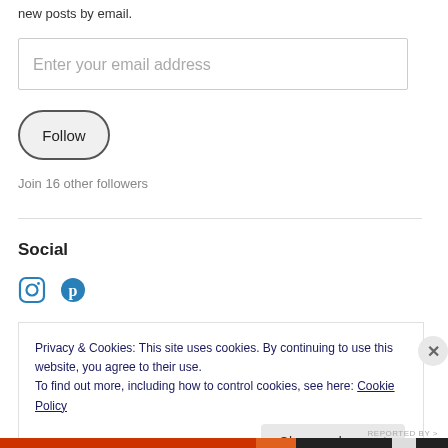new posts by email.
[Figure (other): Email input field with placeholder text 'Enter your email address']
[Figure (other): Follow button, pill-shaped with dark border]
Join 16 other followers
Social
[Figure (other): Social media icons: Instagram and Pinterest in blue]
Privacy & Cookies: This site uses cookies. By continuing to use this website, you agree to their use.
To find out more, including how to control cookies, see here: Cookie Policy
[Figure (other): Close and accept button and X dismiss button for cookie notice]